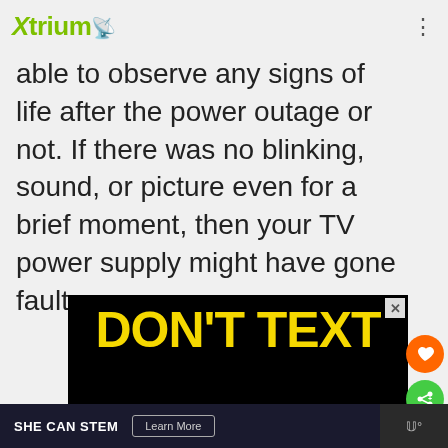Xtrium
able to observe any signs of life after the power outage or not. If there was no blinking, sound, or picture even for a brief moment, then your TV power supply might have gone faulty.
[Figure (illustration): Advertisement banner with black background. Yellow bold text reads 'DON'T TEXT' and cyan bold text reads 'AND' with a cartoon TV icon on the right.]
[Figure (infographic): Bottom advertisement banner: SHE CAN STEM with 'Learn More' button on dark background.]